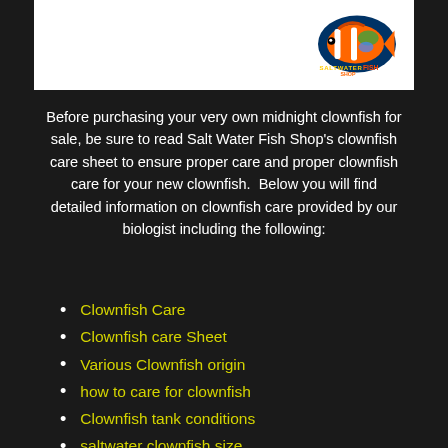[Figure (logo): Saltwater Fish Shop logo with colorful fish graphic on white banner background]
Before purchasing your very own midnight clownfish for sale, be sure to read Salt Water Fish Shop's clownfish care sheet to ensure proper care and proper clownfish care for your new clownfish.  Below you will find detailed information on clownfish care provided by our biologist including the following:
Clownfish Care
Clownfish care Sheet
Various Clownfish origin
how to care for clownfish
Clownfish tank conditions
saltwater clownfish size
clownfish water filtration